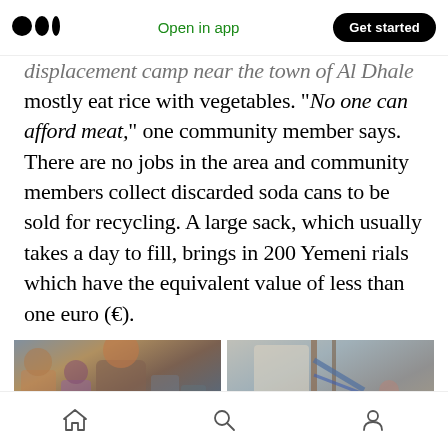Medium logo | Open in app | Get started
displacement camp near the town of Al Dhale mostly eat rice with vegetables. “No one can afford meat,” one community member says. There are no jobs in the area and community members collect discarded soda cans to be sold for recycling. A large sack, which usually takes a day to fill, brings in 200 Yemeni rials which have the equivalent value of less than one euro (€).
[Figure (photo): Left photo: Group of people including women and children in colorful headscarves at a displacement camp, mountainous background. Right photo: Person in white shirt near wooden poles with blue rope, rocky terrain in background.]
Navigation bar with home, search, and profile icons